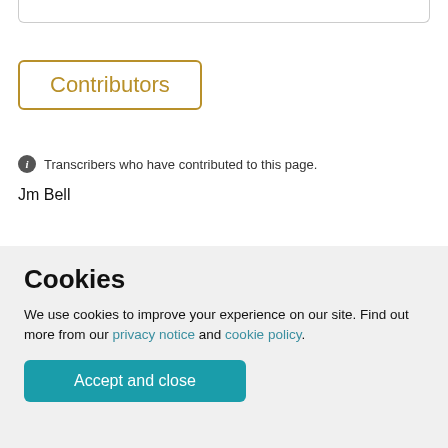Contributors
Transcribers who have contributed to this page.
Jm Bell
Location
Cookies
We use cookies to improve your experience on our site. Find out more from our privacy notice and cookie policy.
Accept and close